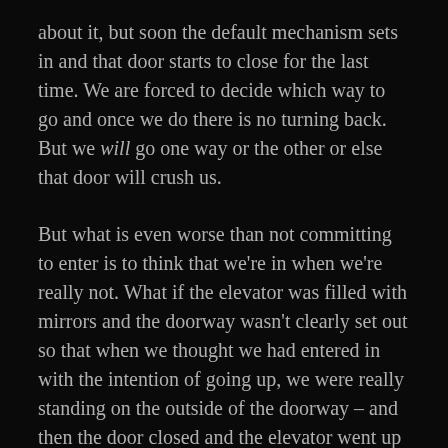about it, but soon the default mechanism sets in and that door starts to close for the last time. We are forced to decide which way to go and once we do there is no turning back. But we will go one way or the other or else that door will crush us.
But what is even worse than not committing to enter is to think that we're in when we're really not. What if the elevator was filled with mirrors and the doorway wasn't clearly set out so that when we thought we had entered in with the intention of going up, we were really standing on the outside of the doorway – and then the door closed and the elevator went up without us?